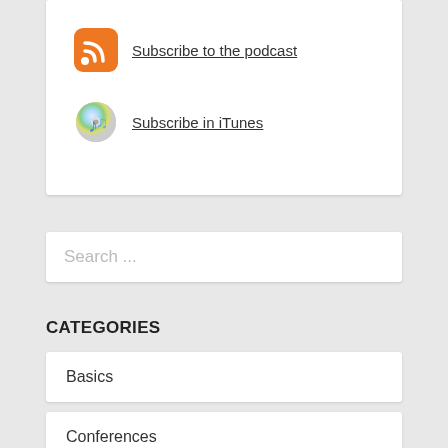Subscribe to the podcast
Subscribe in iTunes
Search ...
CATEGORIES
Basics
Conferences